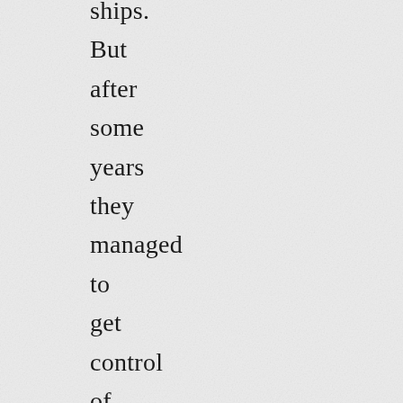ships. But after some years they managed to get control of the problems, and the whole system was again collected in